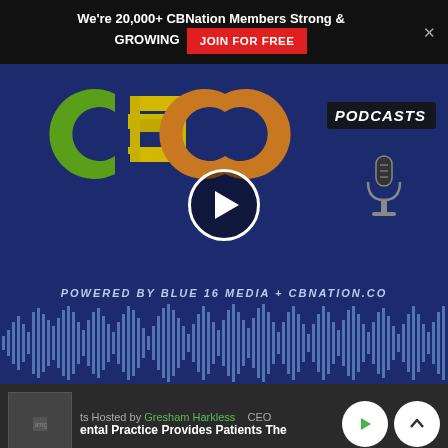We're 20,000+ CBNation Members Strong & GROWING  JOIN FOR FREE
[Figure (screenshot): CEO Podcasts video thumbnail with dark blue background showing CEO logo in green/yellow/orange letters, PODCASTS label, microphone icon, play button overlay, 'POWERED BY BLUE 16 MEDIA + CBNATION.CO' text, and audio waveform at bottom]
ts Hosted by Gresham Harkless  CEO  ental Practice Provides Patients The